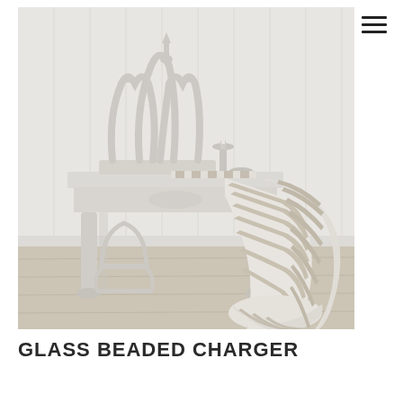[Figure (photo): A styled interior scene showing a distressed white ornate crown ornament and candleholder on a shabby chic white side table, with a beige and white striped throw blanket draped over the table and pooling on a light wood floor. A decorative white metal rack is on the floor near the table leg. White paneled wall in background.]
GLASS BEADED CHARGER